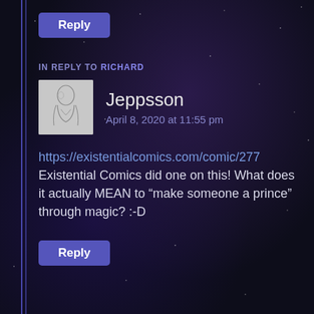Reply
IN REPLY TO RICHARD
Jeppsson
April 8, 2020 at 11:55 pm
https://existentialcomics.com/comic/277
Existential Comics did one on this! What does it actually MEAN to “make someone a prince” through magic? :-D
Reply